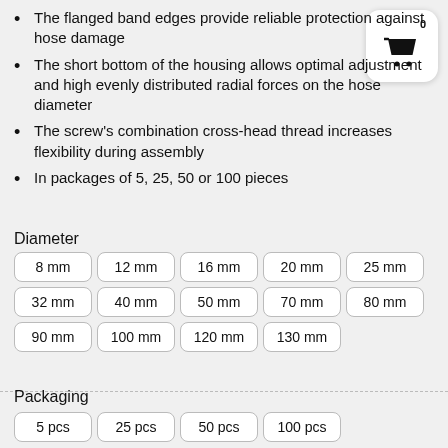The flanged band edges provide reliable protection against hose damage
The short bottom of the housing allows optimal adjustment and high evenly distributed radial forces on the hose diameter
The screw's combination cross-head thread increases flexibility during assembly
In packages of 5, 25, 50 or 100 pieces
Diameter
8 mm | 12 mm | 16 mm | 20 mm | 25 mm | 32 mm | 40 mm | 50 mm | 70 mm | 80 mm | 90 mm | 100 mm | 120 mm | 130 mm
Packaging
5 pcs | 25 pcs | 50 pcs | 100 pcs